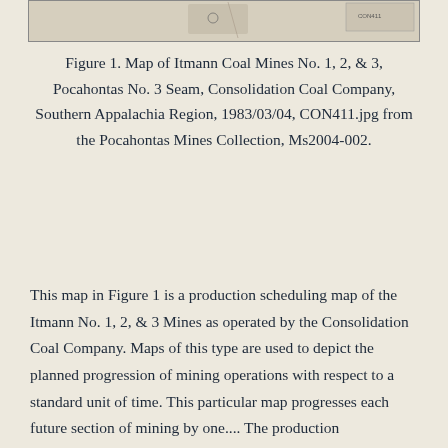[Figure (map): Partial view of a historical coal mine map — top strip visible showing map document edge with faint markings]
Figure 1. Map of Itmann Coal Mines No. 1, 2, & 3, Pocahontas No. 3 Seam, Consolidation Coal Company, Southern Appalachia Region, 1983/03/04, CON411.jpg from the Pocahontas Mines Collection, Ms2004-002.
This map in Figure 1 is a production scheduling map of the Itmann No. 1, 2, & 3 Mines as operated by the Consolidation Coal Company. Maps of this type are used to depict the planned progression of mining operations with respect to a standard unit of time. This particular map progresses each future section of mining by one.... The production